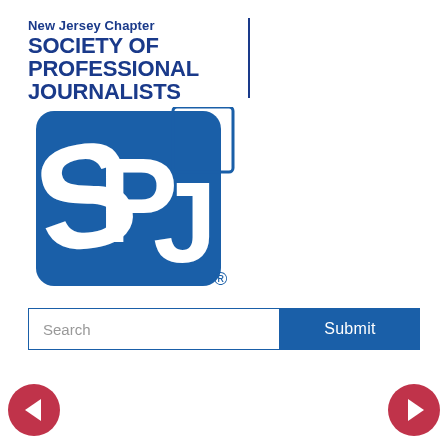[Figure (logo): New Jersey Chapter Society of Professional Journalists (SPJ) logo. Blue text header with organization name and blue SPJ shield emblem with stylized SPJ letters.]
Search
Submit
[Figure (other): Left navigation arrow button — red circle with white left-pointing arrow]
[Figure (other): Right navigation arrow button — red circle with white right-pointing arrow]